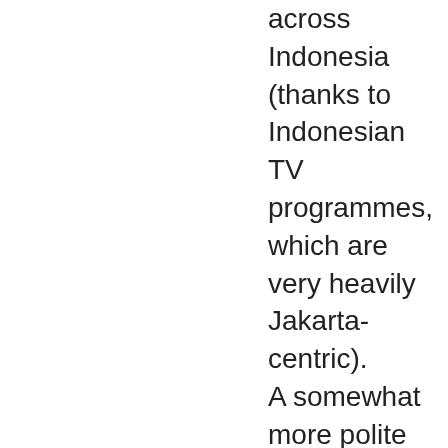across Indonesia (thanks to Indonesian TV programmes, which are very heavily Jakarta-centric). A somewhat more polite and dialect-agnostic way to say it could be “Wah kamu becanda ya?” (“ah are you joking?”) Locals are probably more likely to teach the “proper” Indonesian, but try ask them to teach you the street version. It’s very different, but definitely closer to how they normally speak, i.e.